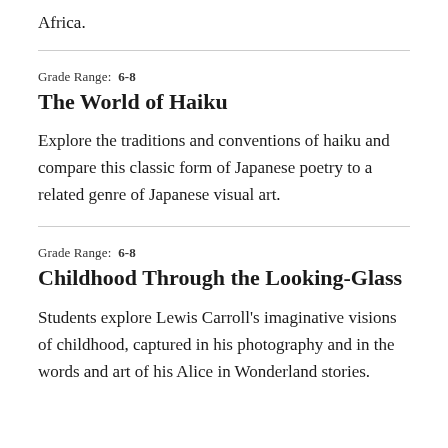Africa.
Grade Range: 6-8
The World of Haiku
Explore the traditions and conventions of haiku and compare this classic form of Japanese poetry to a related genre of Japanese visual art.
Grade Range: 6-8
Childhood Through the Looking-Glass
Students explore Lewis Carroll's imaginative visions of childhood, captured in his photography and in the words and art of his Alice in Wonderland stories.